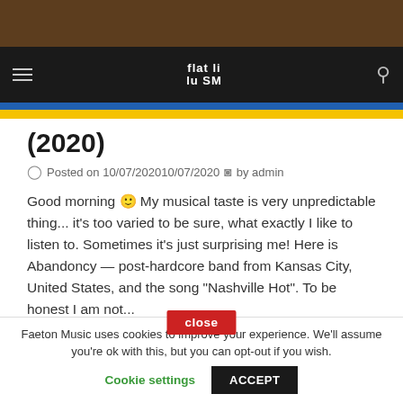[Figure (screenshot): Brown top banner bar of website]
Navigation bar with hamburger menu, Faeton Music logo, and search icon
(2020)
Posted on 10/07/202010/07/2020 by admin
Good morning 🙂 My musical taste is very unpredictable thing... it's too varied to be sure, what exactly I like to listen to. Sometimes it's just surprising me! Here is Abandoncy — post-hardcore band from Kansas City, United States, and the song "Nashville Hot". To be honest I am not...
Posted in metal, metal punk, noise-rock, post-hardcore, rock, rock and metal Tagged Abandoncy, Kansas City, metal, Nashville Hot
close (button overlay)
Faeton Music uses cookies to improve your experience. We'll assume you're ok with this, but you can opt-out if you wish. Cookie settings ACCEPT